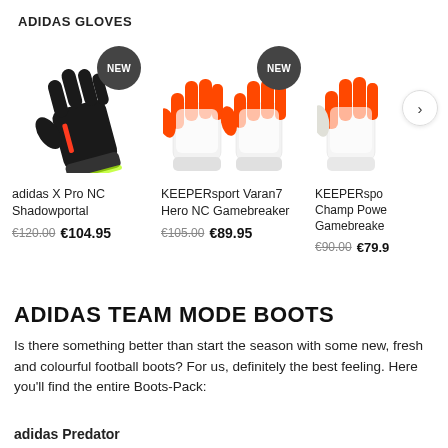ADIDAS GLOVES
[Figure (photo): Adidas X Pro NC Shadowportal goalkeeper glove in black with red stripe. NEW badge visible.]
adidas X Pro NC Shadowportal
€120.00  €104.95
[Figure (photo): KEEPERsport Varan7 Hero NC Gamebreaker goalkeeper gloves in white with orange. NEW badge visible.]
KEEPERsport Varan7 Hero NC Gamebreaker
€105.00  €89.95
[Figure (photo): KEEPERsport Champ Power Gamebreaker goalkeeper glove in white/orange, partially visible with navigation arrow.]
KEEPERspo Champ Powe Gamebreake
€90.00  €79.5
ADIDAS TEAM MODE BOOTS
Is there something better than start the season with some new, fresh and colourful football boots? For us, definitely the best feeling. Here you'll find the entire Boots-Pack:
adidas Predator